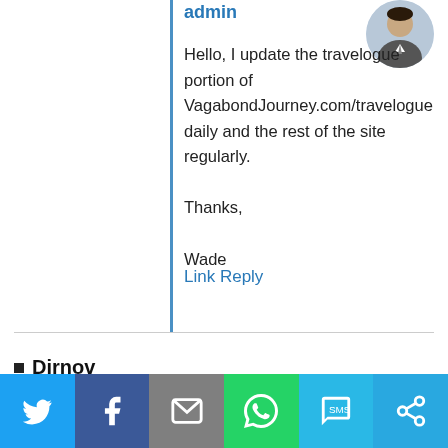admin
Hello, I update the travelogue portion of VagabondJourney.com/travelogue daily and the rest of the site regularly.

Thanks,

Wade
Link Reply
Dirnov